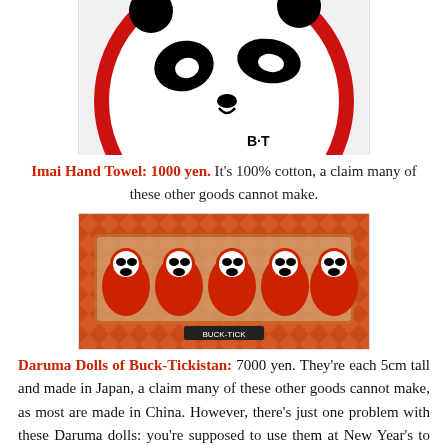[Figure (photo): Photo of a round panda-face hand towel with red circular border on white fabric background, showing panda face with black eye patches and 'B·T' text]
Imai Hand Towel: 1000 yen. It's 100% cotton, a claim many of these other goods cannot make.
[Figure (photo): Photo of a box of 5 red Daruma dolls styled with panda faces, in a decorative red diamond-pattern box with 'BUCK-TICK' label]
Daruma Dolls of Buck-Tickistan: 7000 yen. They're each 5cm tall and made in Japan, a claim many of these other goods cannot make, as most are made in China. However, there's just one problem with these Daruma dolls: you're supposed to use them at New Year's to make a wish. Color in one eye, and make your wish. When your wish comes